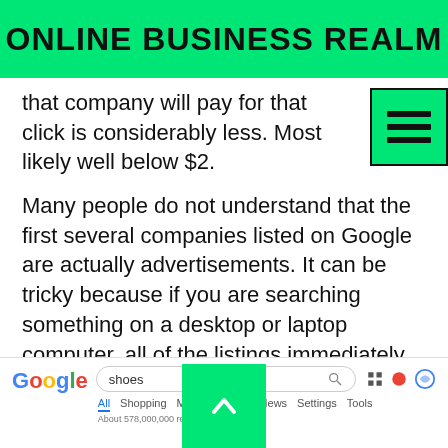ONLINE BUSINESS REALM
that company will pay for that click is considerably less. Most likely well below $2.
Many people do not understand that the first several companies listed on Google are actually advertisements. It can be tricky because if you are searching something on a desktop or laptop computer, all of the listings immediately visible to the eye are ads. Google understands that most people are going to click on one of the visible items so PPC is a very effective way to get traffic.
[Figure (screenshot): Google search results page screenshot showing a search for 'shoes' with navigation tabs (All, Shopping, Maps, Images, News, Settings, Tools) and result count 'About 578,000,000 results (0.71 seconds)']